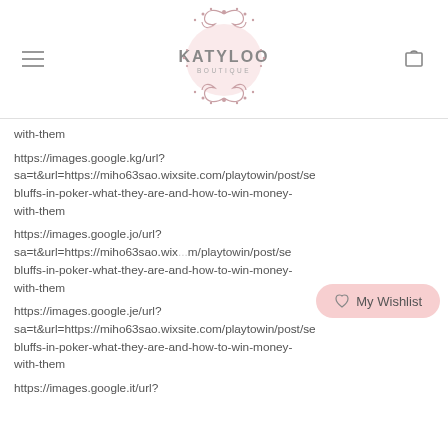Katyloo Boutique
with-them
https://images.google.kg/url?sa=t&url=https://miho63sao.wixsite.com/playtowin/post/se bluffs-in-poker-what-they-are-and-how-to-win-money-with-them
https://images.google.jo/url?sa=t&url=https://miho63sao.wixsite.com/playtowin/post/se bluffs-in-poker-what-they-are-and-how-to-win-money-with-them
https://images.google.je/url?sa=t&url=https://miho63sao.wixsite.com/playtowin/post/se bluffs-in-poker-what-they-are-and-how-to-win-money-with-them
https://images.google.it/url?